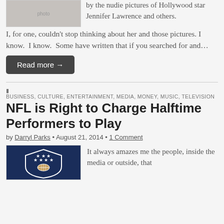[Figure (photo): Partial photo of people, cropped at top]
by the nudie pictures of Hollywood star Jennifer Lawrence and others.
I, for one, couldn't stop thinking about her and those pictures. I know. I know. Some have written that if you searched for and…
Read more →
BUSINESS, CULTURE, ENTERTAINMENT, MEDIA, MONEY, MUSIC, TELEVISION
NFL is Right to Charge Halftime Performers to Play
by Darryl Parks • August 21, 2014 • 1 Comment
[Figure (logo): NFL shield logo in dark navy blue with stars and football]
It always amazes me the people, inside the media or outside, that